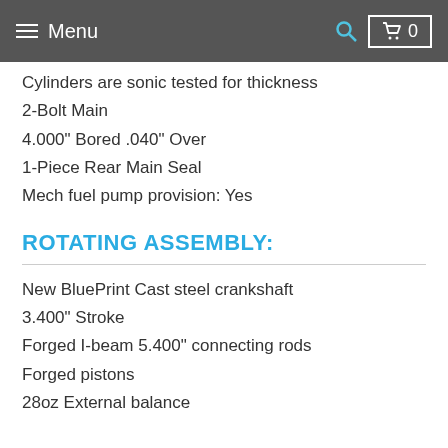Menu  0
Cylinders are sonic tested for thickness
2-Bolt Main
4.000" Bored .040" Over
1-Piece Rear Main Seal
Mech fuel pump provision: Yes
ROTATING ASSEMBLY:
New BluePrint Cast steel crankshaft
3.400" Stroke
Forged I-beam 5.400" connecting rods
Forged pistons
28oz External balance